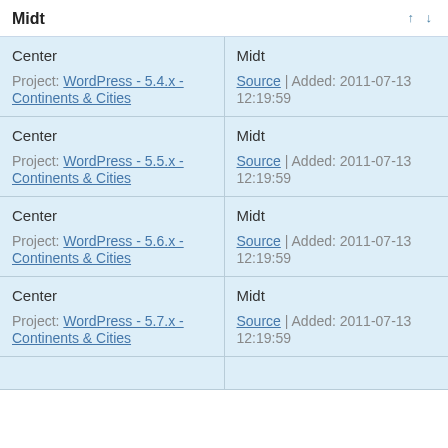| Midt |  |
| --- | --- |
| Center
Project: WordPress - 5.4.x - Continents & Cities | Midt
Source | Added: 2011-07-13 12:19:59 |
| Center
Project: WordPress - 5.5.x - Continents & Cities | Midt
Source | Added: 2011-07-13 12:19:59 |
| Center
Project: WordPress - 5.6.x - Continents & Cities | Midt
Source | Added: 2011-07-13 12:19:59 |
| Center
Project: WordPress - 5.7.x - Continents & Cities | Midt
Source | Added: 2011-07-13 12:19:59 |